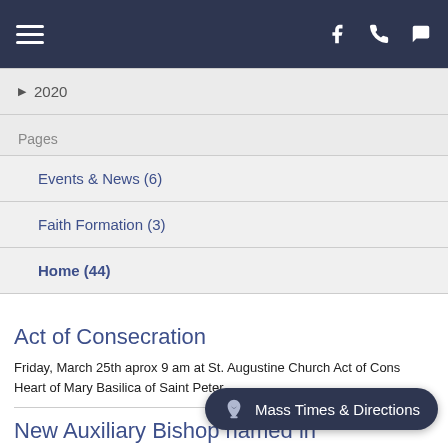Navigation bar with hamburger menu, Facebook, phone, and chat icons
2020
Pages
Events & News (6)
Faith Formation (3)
Home (44)
Act of Consecration
Friday, March 25th aprox 9 am at St. Augustine Church Act of Cons... Heart of Mary Basilica of Saint Peter.
New Auxiliary Bishop named in Archdiocese of Galve...
May 18, 2021
Mass Times & Directions